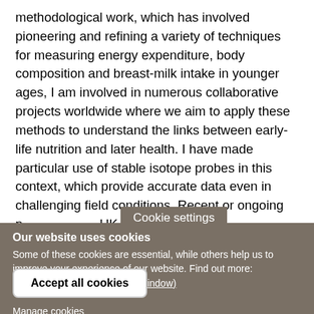methodological work, which has involved pioneering and refining a variety of techniques for measuring energy expenditure, body composition and breast-milk intake in younger ages, I am involved in numerous collaborative projects worldwide where we aim to apply these methods to understand the links between early-life nutrition and later health. I have made particular use of stable isotope probes in this context, which provide accurate data even in challenging field conditions. Recent or ongoing p… UK (Cambridge,
Cookie settings
Our website uses cookies
Some of these cookies are essential, while others help us to improve your experience of our website. Find out more: Privacy Policy (opens in new window)
Accept all cookies
Manage cookies